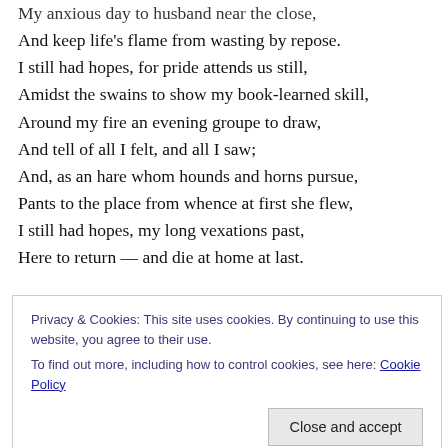My anxious day to husband near the close,
And keep life’s flame from wasting by repose.
I still had hopes, for pride attends us still,
Amidst the swains to show my book-learned skill,
Around my fire an evening groupe to draw,
And tell of all I felt, and all I saw;
And, as an hare whom hounds and horns pursue,
Pants to the place from whence at first she flew,
I still had hopes, my long vexations past,
Here to return — and die at home at last.
O blest retirement, friend to life’s decline,
[Figure (other): Cookie consent banner overlay with text: 'Privacy & Cookies: This site uses cookies. By continuing to use this website, you agree to their use. To find out more, including how to control cookies, see here: Cookie Policy' and a 'Close and accept' button.]
And, since ’tis hard to combat, learns to fly.